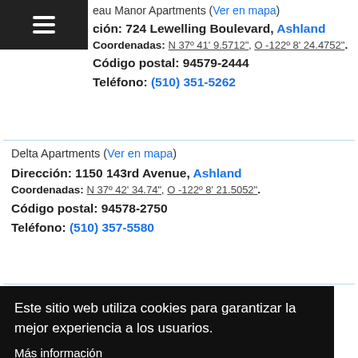eau Manor Apartments (Ver en mapa)
ción: 724 Lewelling Boulevard, Ashland
Coordenadas: N 37º 41' 9.5712", O -122º 8' 24.4752".
Código postal: 94579-2444
Teléfono: (510) 351-5262
Delta Apartments (Ver en mapa)
Dirección: 1150 143rd Avenue, Ashland
Coordenadas: N 37º 42' 34.74", O -122º 8' 21.5052".
Código postal: 94578-2750
Teléfono: (510) 357-5580
Este sitio web utiliza cookies para garantizar la mejor experiencia a los usuarios.
Más información
De acuerdo
Teléfono: (510) 357-1150